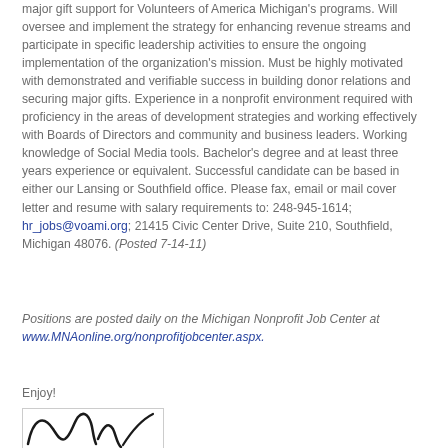major gift support for Volunteers of America Michigan's programs. Will oversee and implement the strategy for enhancing revenue streams and participate in specific leadership activities to ensure the ongoing implementation of the organization's mission. Must be highly motivated with demonstrated and verifiable success in building donor relations and securing major gifts. Experience in a nonprofit environment required with proficiency in the areas of development strategies and working effectively with Boards of Directors and community and business leaders. Working knowledge of Social Media tools. Bachelor's degree and at least three years experience or equivalent. Successful candidate can be based in either our Lansing or Southfield office. Please fax, email or mail cover letter and resume with salary requirements to: 248-945-1614; hr_jobs@voami.org; 21415 Civic Center Drive, Suite 210, Southfield, Michigan 48076. (Posted 7-14-11)
Positions are posted daily on the Michigan Nonprofit Job Center at www.MNAonline.org/nonprofitjobcenter.aspx.
Enjoy!
[Figure (illustration): Handwritten signature in black ink, partially visible]